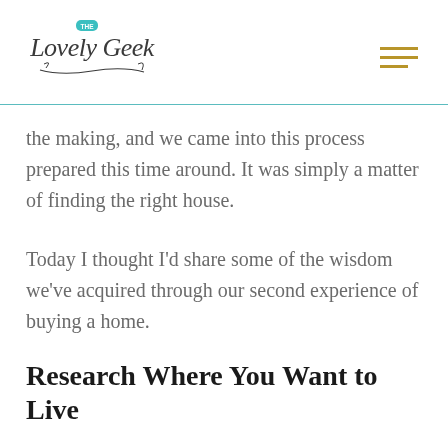The Lovely Geek
the making, and we came into this process prepared this time around. It was simply a matter of finding the right house.
Today I thought I'd share some of the wisdom we've acquired through our second experience of buying a home.
Research Where You Want to Live